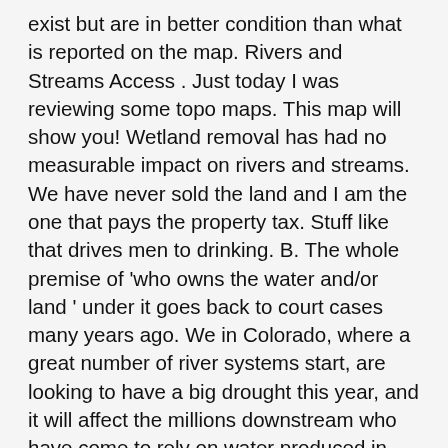exist but are in better condition than what is reported on the map. Rivers and Streams Access . Just today I was reviewing some topo maps. This map will show you! Wetland removal has had no measurable impact on rivers and streams. We have never sold the land and I am the one that pays the property tax. Stuff like that drives men to drinking. B. The whole premise of 'who owns the water and/or land ' under it goes back to court cases many years ago. We in Colorado, where a great number of river systems start, are looking to have a big drought this year, and it will affect the millions downstream who have come to rely on water produced in this state. There are land patents within the United States. Oddly enough, there are a variety of different types streams. I'll enjoy that interactive map, I'm sure. The term river of grass has been used to describe the vast complex of waterways that make up the Everglades but the state has many ordinary rivers as well. Ken's.2020. A stream may create a pool where water slows and becomes deeper.The point at which a stream comes into a large body of water, like an ocean or a lake is